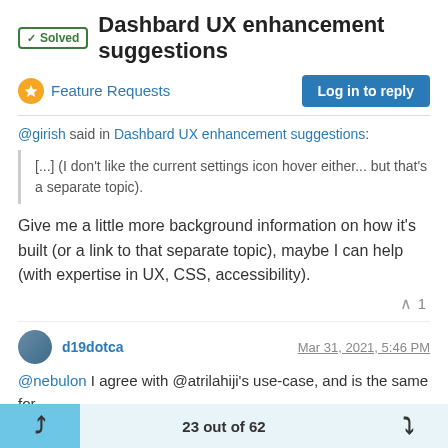✓ Solved  Dashbard UX enhancement suggestions
Feature Requests
Log in to reply
@girish said in Dashbard UX enhancement suggestions:
[...] (I don't like the current settings icon hover either... but that's a separate topic).
Give me a little more background information on how it's built (or a link to that separate topic), maybe I can help (with expertise in UX, CSS, accessibility).
^ 1
d19dotca   Mar 31, 2021, 5:46 PM
@nebulon I agree with @atrilahiji's use-case, and is the same for
23 out of 62